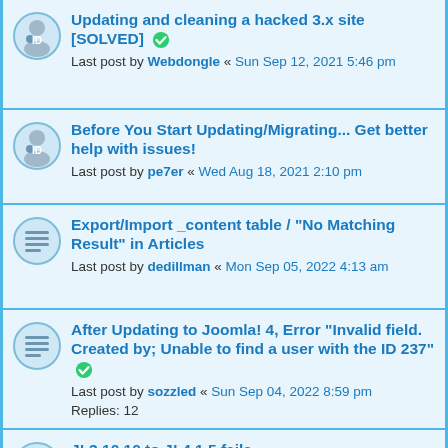Updating and cleaning a hacked 3.x site [SOLVED] — Last post by Webdongle « Sun Sep 12, 2021 5:46 pm
Before You Start Updating/Migrating... Get better help with issues! — Last post by pe7er « Wed Aug 18, 2021 2:10 pm
Export/Import _content table / "No Matching Result" in Articles — Last post by dedillman « Mon Sep 05, 2022 4:13 am
After Updating to Joomla! 4, Error "Invalid field. Created by; Unable to find a user with the ID 237" [SOLVED] — Last post by sozzled « Sun Sep 04, 2022 8:59 pm — Replies: 12
J! 3.10.10 to J! 4.1.5 fails PrepareStatementFailureException: